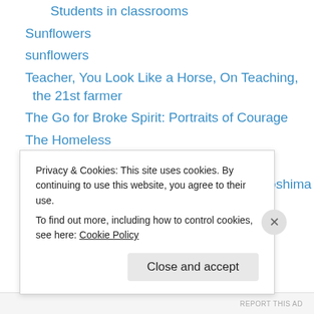Students in classrooms
Sunflowers
sunflowers
Teacher, You Look Like a Horse, On Teaching, the 21st farmer
The Go for Broke Spirit: Portraits of Courage
The Homeless
Thoughts, Musings, Things to Share
To Hell and Back: The Last Train from Hiroshima
Trees
Uber & Lyft
UC Davis Hospital
Uncategorized
Privacy & Cookies: This site uses cookies. By continuing to use this website, you agree to their use. To find out more, including how to control cookies, see here: Cookie Policy
Close and accept